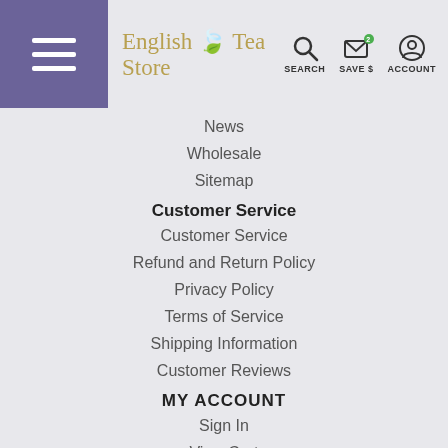English Tea Store — SEARCH, SAVE $, ACCOUNT
News
Wholesale
Sitemap
Customer Service
Customer Service
Refund and Return Policy
Privacy Policy
Terms of Service
Shipping Information
Customer Reviews
MY ACCOUNT
Sign In
View Cart
Order Status
Contact Us
1000 Westinghouse Drive
Suite 1
New Stanton, PA 15678